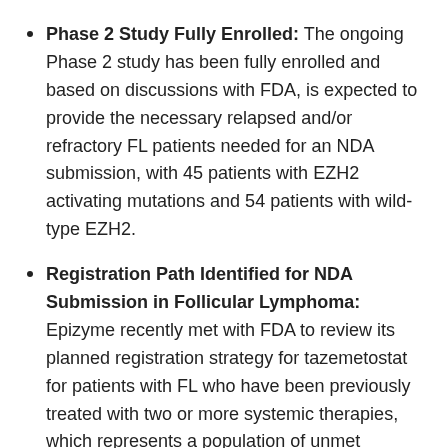Phase 2 Study Fully Enrolled: The ongoing Phase 2 study has been fully enrolled and based on discussions with FDA, is expected to provide the necessary relapsed and/or refractory FL patients needed for an NDA submission, with 45 patients with EZH2 activating mutations and 54 patients with wild-type EZH2.
Registration Path Identified for NDA Submission in Follicular Lymphoma: Epizyme recently met with FDA to review its planned registration strategy for tazemetostat for patients with FL who have been previously treated with two or more systemic therapies, which represents a population of unmet medical need. The company has identified a path to a submission for accelerated approval for patients with both mutant and wildtype EZH2, based on the ongoing